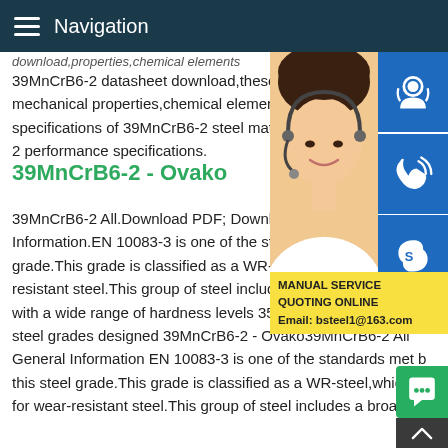Navigation
39MnCrB6-2 datasheet download,these include mechanical properties,chemical element specifications of 39MnCrB6-2 steel material 2 performance specifications.
39MnCrB6-2 - Ovako
39MnCrB6-2 All.Download PDF; Download Information.EN 10083-3 is one of the standards met by this steel grade.This grade is classified as a WR-steel,which stands for wear-resistant steel.This group of steel includes a broad range of grades with a wide range of hardness levels 350 650 HV,dimensions and steel grades designed 39MnCrB6-2 - Ovako39MnCrB6-2 All General Information EN 10083-3 is one of the standards met by this steel grade.This grade is classified as a WR-steel,which stands for wear-resistant steel.This group of steel includes a broad range of grades with a wide range of hardness levels 350 87 and 5...
[Figure (photo): Customer service representative (woman with headset) with blue icon buttons for support, phone, and Skype. Yellow banner showing MANUAL SERVICE, QUOTING O... and Email: bsteel1@163.com]